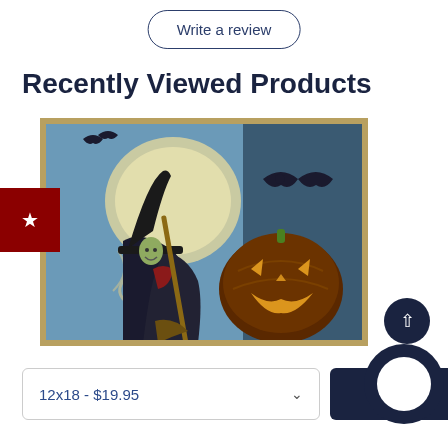Write a review
Recently Viewed Products
[Figure (illustration): Vintage Halloween illustration showing a witch in black hat holding a broom, a glowing jack-o-lantern pumpkin, bats flying, and a full moon in the background. Framed with a golden/brown border.]
12x18 - $19.95
Add to